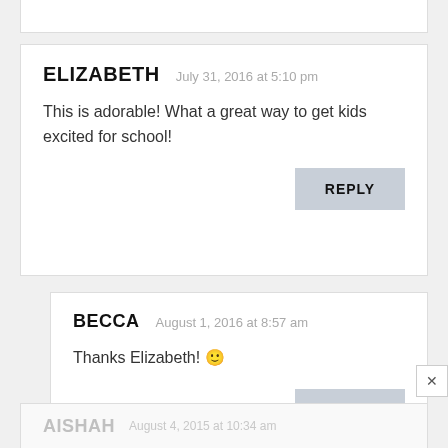ELIZABETH  July 31, 2016 at 5:10 pm
This is adorable! What a great way to get kids excited for school!
REPLY
BECCA  August 1, 2016 at 8:57 am
Thanks Elizabeth! 🙂
REPLY
AISHAH  August 4, 2015 at 10:34 am